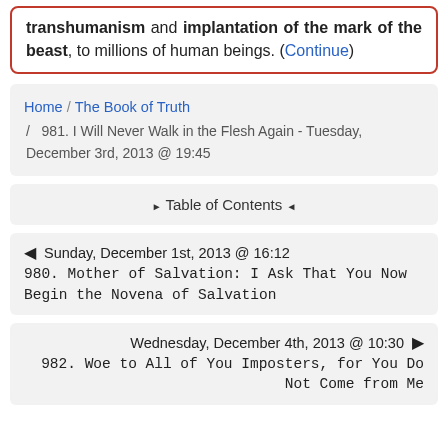transhumanism and implantation of the mark of the beast, to millions of human beings. (Continue)
Home / The Book of Truth / 981. I Will Never Walk in the Flesh Again - Tuesday, December 3rd, 2013 @ 19:45
▶ Table of Contents ◄
⬅ Sunday, December 1st, 2013 @ 16:12 980. Mother of Salvation: I Ask That You Now Begin the Novena of Salvation
Wednesday, December 4th, 2013 @ 10:30 ➡ 982. Woe to All of You Imposters, for You Do Not Come from Me